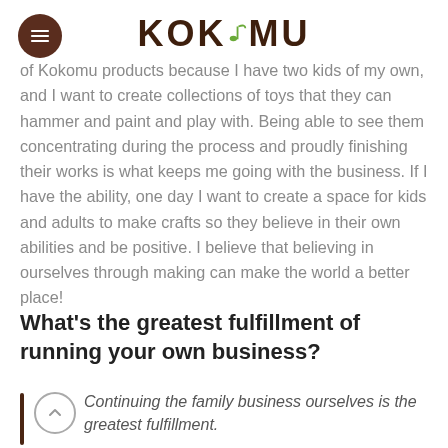KOKOMU
…ering happi…an important part of Kokomu products because I have two kids of my own, and I want to create collections of toys that they can hammer and paint and play with. Being able to see them concentrating during the process and proudly finishing their works is what keeps me going with the business. If I have the ability, one day I want to create a space for kids and adults to make crafts so they believe in their own abilities and be positive. I believe that believing in ourselves through making can make the world a better place!
What's the greatest fulfillment of running your own business?
Continuing the family business ourselves is the greatest fulfillment.